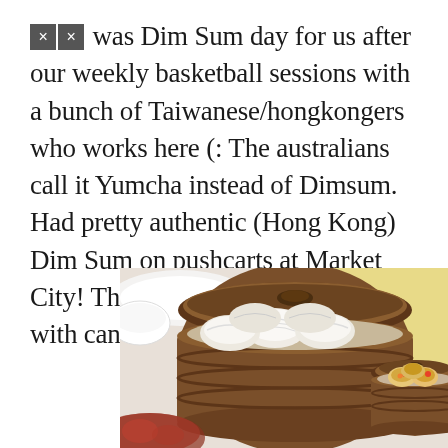🀙🀙 was Dim Sum day for us after our weekly basketball sessions with a bunch of Taiwanese/hongkongers who works here (: The australians call it Yumcha instead of Dimsum. Had pretty authentic (Hong Kong) Dim Sum on pushcarts at Market City! The restaurant was bustling with canto-conversations!
[Figure (photo): Photo of dim sum dishes: a bamboo steamer basket with har gow (shrimp dumplings) in the foreground, and a smaller bamboo basket with siu mai (pork and shrimp dumplings) to the right. White plates and table setting visible in background.]